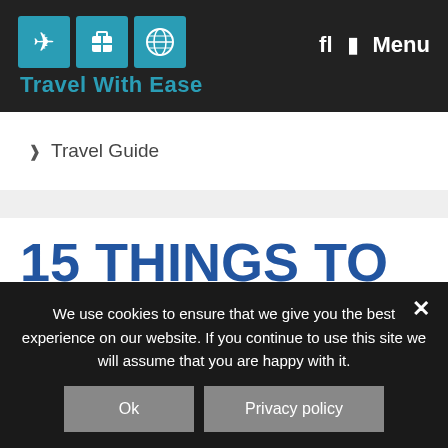[Figure (logo): Travel With Ease logo with airplane, luggage, and globe icons in teal squares, with 'Travel With Ease' text below in teal]
fl  ☰  Menu
❯  Travel Guide
15 THINGS TO SEE AND DO IN SEOUL
We use cookies to ensure that we give you the best experience on our website. If you continue to use this site we will assume that you are happy with it.
Ok   Privacy policy